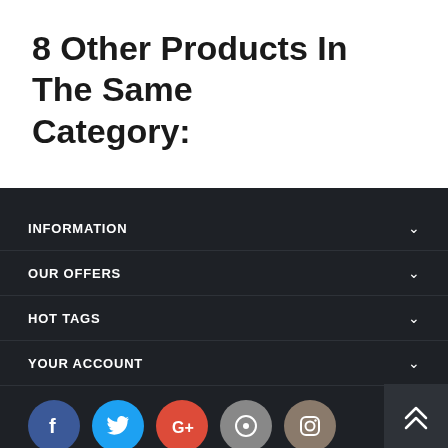8 Other Products In The Same Category:
INFORMATION
OUR OFFERS
HOT TAGS
YOUR ACCOUNT